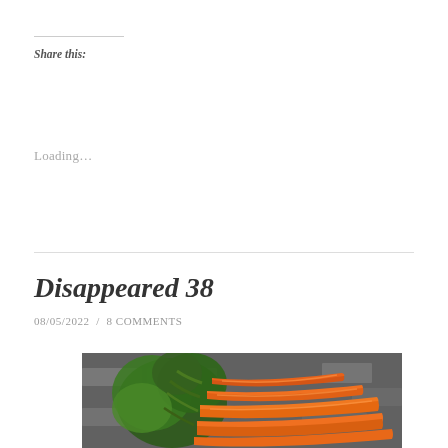Share this:
Loading…
Disappeared 38
08/05/2022  /  8 COMMENTS
[Figure (photo): Bunch of fresh orange carrots with green tops lying on a stone brick surface, close-up shot]